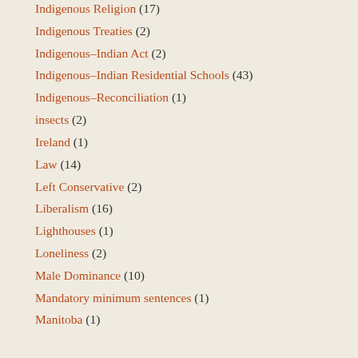Indigenous Religion (17)
Indigenous Treaties (2)
Indigenous–Indian Act (2)
Indigenous–Indian Residential Schools (43)
Indigenous–Reconciliation (1)
insects (2)
Ireland (1)
Law (14)
Left Conservative (2)
Liberalism (16)
Lighthouses (1)
Loneliness (2)
Male Dominance (10)
Mandatory minimum sentences (1)
Manitoba (1)